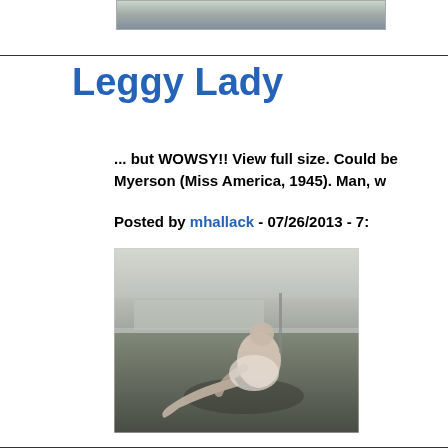[Figure (photo): Partial view of a black and white photograph at top of page, cropped]
Leggy Lady
... but WOWSY!! View full size. Could be Myerson (Miss America, 1945). Man, w
Posted by mhallack - 07/26/2013 - 7:
[Figure (photo): Black and white photograph of a young woman in a floral dress sitting on grass in a park-like setting, leaning back on her hands with legs extended, wearing ankle-strap shoes]